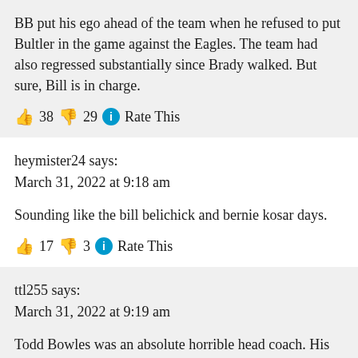BB put his ego ahead of the team when he refused to put Bultler in the game against the Eagles. The team had also regressed substantially since Brady walked. But sure, Bill is in charge.
👍 38 👎 29 ⓘ Rate This
heymister24 says:
March 31, 2022 at 9:18 am
Sounding like the bill belichick and bernie kosar days.
👍 17 👎 3 ⓘ Rate This
ttl255 says:
March 31, 2022 at 9:19 am
Todd Bowles was an absolute horrible head coach. His in-game decisions were terrible. His teams weren't prepared. Heck, his blitz calls with the Bucs were awful.